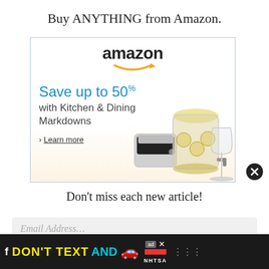Buy ANYTHING from Amazon.
[Figure (screenshot): Amazon advertisement banner showing 'Save up to 50% with Kitchen & Dining Markdowns' with a Learn more link, kitchen appliances and glassware image, amazon logo with orange arrow]
[Figure (other): Black circular close/dismiss button with white X]
Don't miss each new article!
Email Address...
[Figure (screenshot): Bottom banner ad: DON'T TEXT AND [car emoji] ad NHTSA with social media icons, yellow and cyan text on black background]